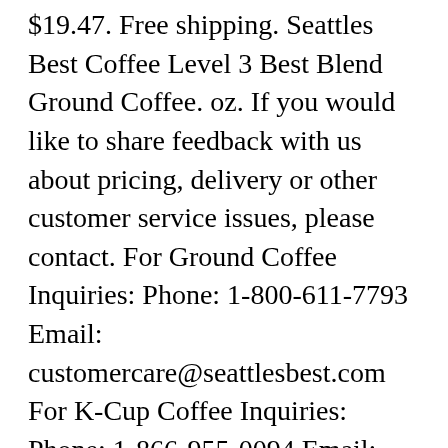$19.47. Free shipping. Seattles Best Coffee Level 3 Best Blend Ground Coffee. oz. If you would like to share feedback with us about pricing, delivery or other customer service issues, please contact. For Ground Coffee Inquiries: Phone: 1-800-611-7793 Email: customercare@seattlesbest.com For K-Cup Coffee Inquiries: Phone: 1-866-955-0094 Email: seattlesbestcoffee@casupport.com Estd 1970. Seattle's Best Post Alley Dark Roast Keurig Hot K Cups 72 BB 02/02/20. Free shipping, no order min. Free shipping. (180 mL) of water For best taste, use cold, filtered water and store ground coffee in a cool, dark place. Electrode, Comp-3651fb74-3d6e-48d1-9e6c-e1232d69302c, DC-scus-prod-a13, ENV-prod-